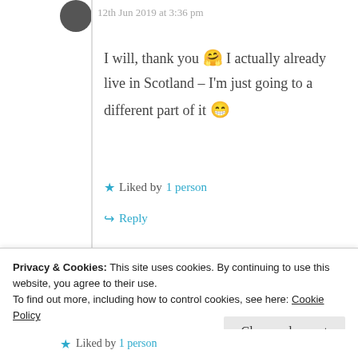12th Jun 2019 at 3:36 pm
I will, thank you 😊 I actually already live in Scotland – I'm just going to a different part of it 😁
★ Liked by 1 person
↪ Reply
moviefanman
Privacy & Cookies: This site uses cookies. By continuing to use this website, you agree to their use.
To find out more, including how to control cookies, see here: Cookie Policy
Close and accept
★ Liked by 1 person